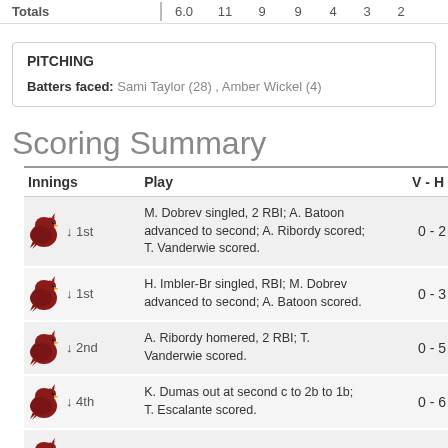| Totals | 6.0 | 11 | 9 | 9 | 4 | 3 | 2 |
| --- | --- | --- | --- | --- | --- | --- | --- |
| PITCHING |  |
| Batters faced: | Sami Taylor (28) , Amber Wickel (4) |
Scoring Summary
| Innings | Play | V - H |
| --- | --- | --- |
| ↓ 1st | M. Dobrev singled, 2 RBI; A. Batoon advanced to second; A. Ribordy scored; T. Vanderwie scored. | 0 - 2 |
| ↓ 1st | H. Imbler-Br singled, RBI; M. Dobrev advanced to second; A. Batoon scored. | 0 - 3 |
| ↓ 2nd | A. Ribordy homered, 2 RBI; T. Vanderwie scored. | 0 - 5 |
| ↓ 4th | K. Dumas out at second c to 2b to 1b; T. Escalante scored. | 0 - 6 |
| ↓ 5th | M. Dobrev ..., RBI; | 0 - ? |